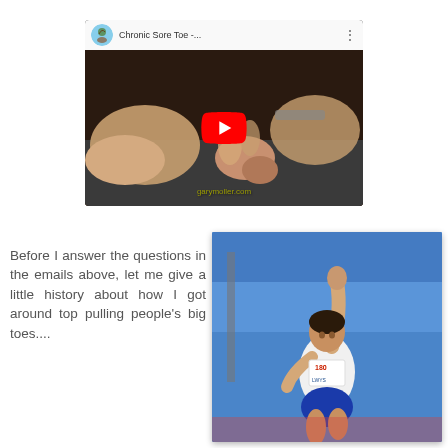[Figure (screenshot): YouTube video thumbnail titled 'Chronic Sore Toe -...' showing hands manipulating a toe, with garymoller.com watermark and a red YouTube play button overlay]
Before I answer the questions in the emails above, let me give a little history about how I got around top pulling people's big toes....
[Figure (photo): Photo of an athlete (runner wearing bib number 180) celebrating with one fist raised in the air, at what appears to be a track and field competition]